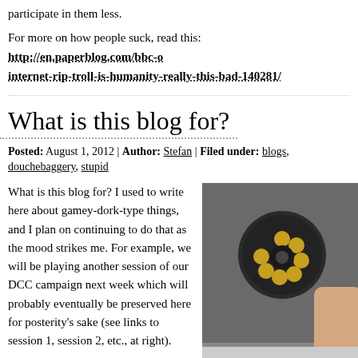participate in them less.
For more on how people suck, read this: http://en.paperblog.com/bbc-o internet-rip-troll-is-humanity-really-this-bad-140281/
What is this blog for?
Posted: August 1, 2012 | Author: Stefan | Filed under: blogs, douchebaggery, stupid
What is this blog for? I used to write here about gamey-dork-type things, and I plan on continuing to do that as the mood strikes me. For example, we will be playing another session of our DCC campaign next week which will probably eventually be preserved here for posterity's sake (see links to session 1, session 2, etc., at right).
[Figure (photo): A hand holding a revolver with loaded chambers visible, with the word READY at the bottom]
I've never been much of one for writing